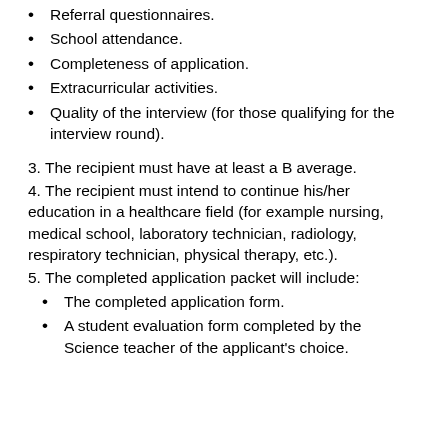Referral questionnaires.
School attendance.
Completeness of application.
Extracurricular activities.
Quality of the interview (for those qualifying for the interview round).
3. The recipient must have at least a B average.
4. The recipient must intend to continue his/her education in a healthcare field (for example nursing, medical school, laboratory technician, radiology, respiratory technician, physical therapy, etc.).
5. The completed application packet will include:
The completed application form.
A student evaluation form completed by the Science teacher of the applicant's choice.